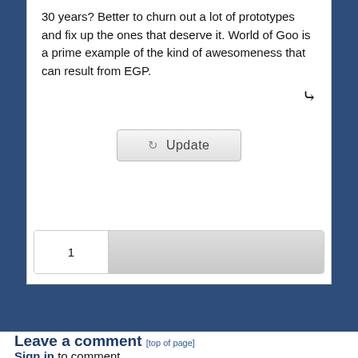30 years? Better to churn out a lot of prototypes and fix up the ones that deserve it. World of Goo is a prime example of the kind of awesomeness that can result from EGP.
[Figure (screenshot): Update button with refresh icon in a gray rounded rectangle]
[Figure (screenshot): Pagination bar showing page number 1 with gray fill]
^ Scroll Up | Homepage >
Leave a comment [top of page]
Sign in to comment.
ALSO ON JAYISGAMES